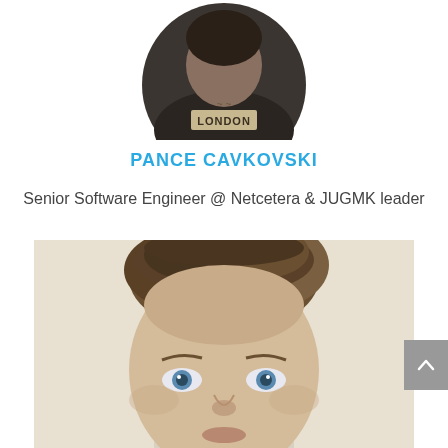[Figure (photo): Circular cropped profile photo of a person wearing a jacket with 'LONDON' text visible, partially clipped at top of page]
PANCE CAVKOVSKI
Senior Software Engineer @ Netcetera & JUGMK leader
[Figure (photo): Large black and white portrait photo of a man with short light brown hair and blue eyes, cropped from chest up, filling lower portion of page]